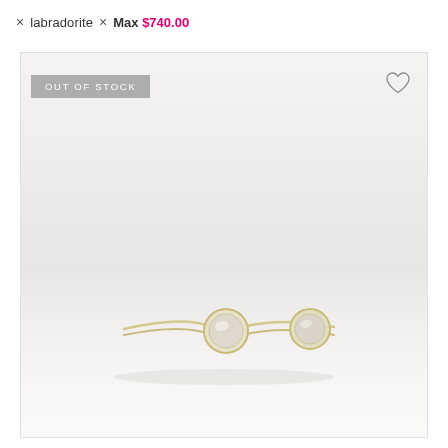× labradorite  ×  Max $740.00
[Figure (photo): Gold open cuff ring with two round labradorite stone settings, photographed on a light grey/white background. Badge reads OUT OF STOCK with a heart/wishlist icon in the top right corner.]